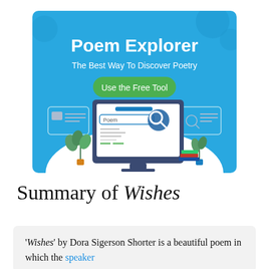[Figure (illustration): Banner advertisement for 'Poem Explorer - The Best Way To Discover Poetry' with a blue background, a green 'Use the Free Tool' button, and an illustrated computer monitor showing a poem search interface with a magnifying glass, flanked by plant illustrations and UI elements.]
Summary of Wishes
'Wishes' by Dora Sigerson Shorter is a beautiful poem in which the speaker